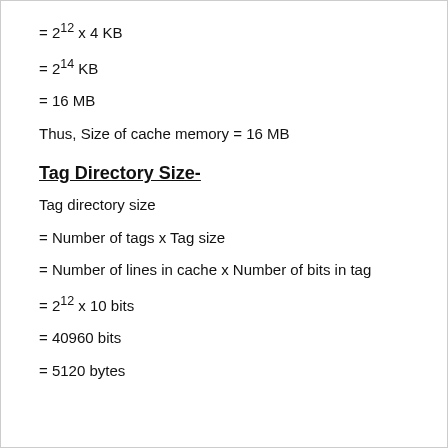Thus, Size of cache memory = 16 MB
Tag Directory Size-
Tag directory size
= Number of tags x Tag size
= Number of lines in cache x Number of bits in tag